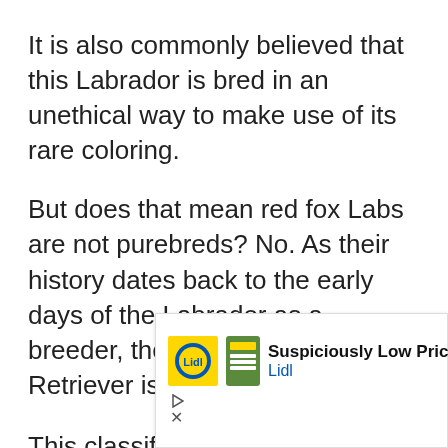It is also commonly believed that this Labrador is bred in an unethical way to make use of its rare coloring.
But does that mean red fox Labs are not purebreds? No. As their history dates back to the early days of the Labrador as a breeder, the fox red Labrador Retriever is classed as purebred.
This classification as purebred and a different shade of yellow Lab is
[Figure (screenshot): Advertisement banner for Lidl showing 'Suspiciously Low Prices' with Lidl logo and a blue navigation arrow icon, with play and close controls.]